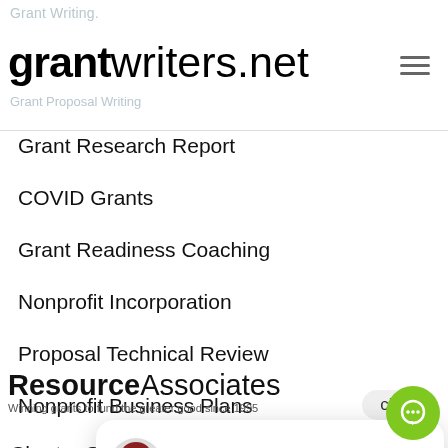Grant Writing. grantwriters.net Grant Proposal Writing
Grant Research Report
COVID Grants
Grant Readiness Coaching
Nonprofit Incorporation
Proposal Technical Review
Nonprofit Business Plans
Business Gran...
Charter Schoo...
Grant Rewrite
Grant Siren Alerts
[Figure (screenshot): Chat popup with avatar and text 'Need grants? Let’s chat.']
close
[Figure (logo): ResourceAssociates logo with tagline 'Winning grants to fund the greater good since 1995']